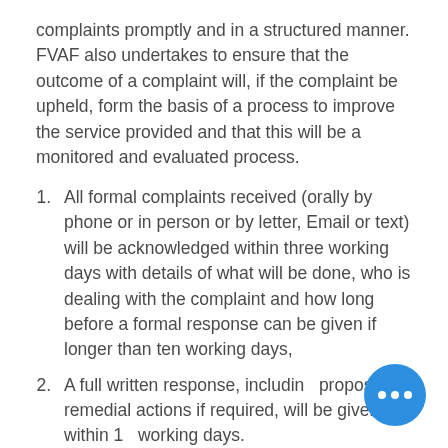complaints promptly and in a structured manner. FVAF also undertakes to ensure that the outcome of a complaint will, if the complaint be upheld, form the basis of a process to improve the service provided and that this will be a monitored and evaluated process.
All formal complaints received (orally by phone or in person or by letter, Email or text) will be acknowledged within three working days with details of what will be done, who is dealing with the complaint and how long before a formal response can be given if longer than ten working days,
A full written response, including proposed remedial actions if required, will be given within 10 working days.